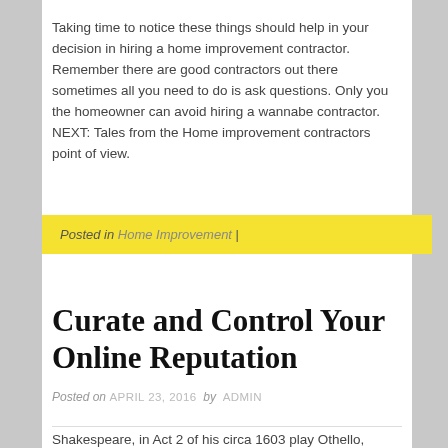Taking time to notice these things should help in your decision in hiring a home improvement contractor. Remember there are good contractors out there sometimes all you need to do is ask questions. Only you the homeowner can avoid hiring a wannabe contractor. NEXT: Tales from the Home improvement contractors point of view.
Posted in Home Improvement |
Curate and Control Your Online Reputation
Posted on APRIL 23, 2016 by ADMIN
Shakespeare, in Act 2 of his circa 1603 play Othello,